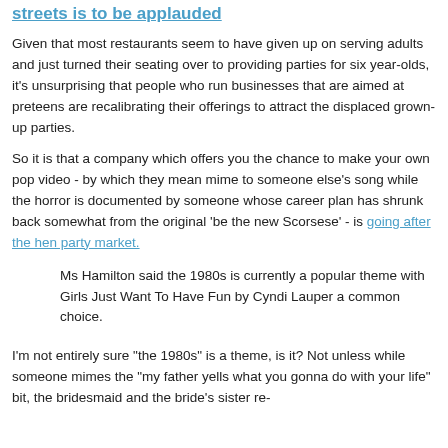streets is to be applauded
Given that most restaurants seem to have given up on serving adults and just turned their seating over to providing parties for six year-olds, it's unsurprising that people who run businesses that are aimed at preteens are recalibrating their offerings to attract the displaced grown-up parties.
So it is that a company which offers you the chance to make your own pop video - by which they mean mime to someone else's song while the horror is documented by someone whose career plan has shrunk back somewhat from the original 'be the new Scorsese' - is going after the hen party market.
Ms Hamilton said the 1980s is currently a popular theme with Girls Just Want To Have Fun by Cyndi Lauper a common choice.
I'm not entirely sure "the 1980s" is a theme, is it? Not unless while someone mimes the "my father yells what you gonna do with your life" bit, the bridesmaid and the bride's sister re-